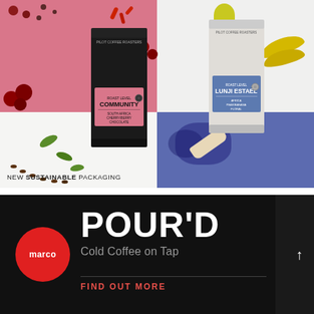[Figure (photo): Two coffee bags photographed on a split quadrant background of pink, white, light gray, and blue. Left bag is dark/black labeled 'COMMUNITY' by Pilot Coffee Roasters with a pink label. Right bag is light gray labeled 'LUNLJI ESTAEL' by Pilot Coffee Roasters with a blue label. Various coffee cherries, beans, chili peppers, green leaves, pear, and banana visible as props. Text at bottom left reads 'NEW SUSTAINABLE PACKAGING'.]
NEW SUSTAINABLE PACKAGING
[Figure (photo): Dark background promotional image for Marco 'POUR'D Cold Coffee on Tap'. Red circle with 'marco' text on left, large white bold 'POUR'D' text, subtitle 'Cold Coffee on Tap' in gray, horizontal divider line, and red 'FIND OUT MORE' text below. White upward arrow on right side.]